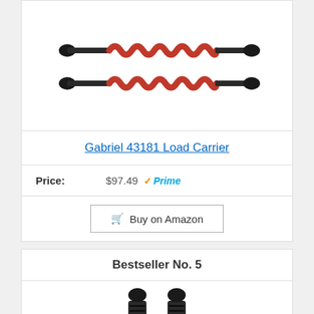[Figure (photo): Two red and black coil-over shock absorbers shown side by side horizontally]
Gabriel 43181 Load Carrier
Price: $97.49 Prime
Buy on Amazon
Bestseller No. 5
[Figure (photo): Two black shock absorbers standing vertically, partially visible]